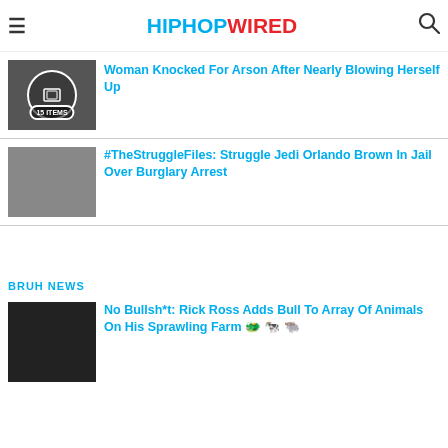HipHopWired
[Figure (photo): Mugshot thumbnail with 15 ITEMS badge]
Woman Knocked For Arson After Nearly Blowing Herself Up
[Figure (photo): Mugshot of Orlando Brown smiling with hands raised]
#TheStruggleFiles: Struggle Jedi Orlando Brown In Jail Over Burglary Arrest
BRUH NEWS
[Figure (photo): Rick Ross performing in blue jacket]
No Bullsh*t: Rick Ross Adds Bull To Array Of Animals On His Sprawling Farm